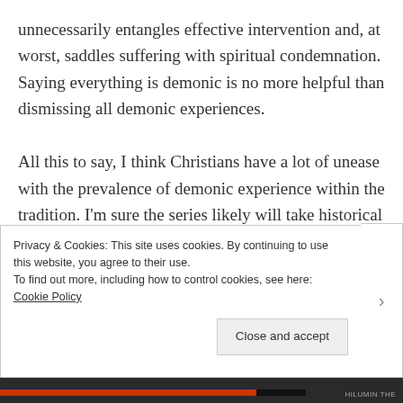unnecessarily entangles effective intervention and, at worst, saddles suffering with spiritual condemnation. Saying everything is demonic is no more helpful than dismissing all demonic experiences.

All this to say, I think Christians have a lot of unease with the prevalence of demonic experience within the tradition. I'm sure the series likely will take historical liberties (the name History Channel notwithstanding), but all the same it is also likely to
Privacy & Cookies: This site uses cookies. By continuing to use this website, you agree to their use.
To find out more, including how to control cookies, see here: Cookie Policy
Close and accept